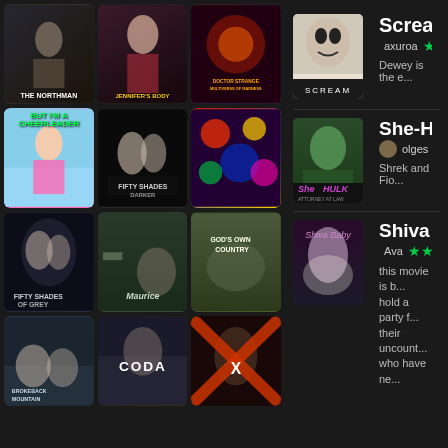[Figure (screenshot): Movie poster grid showing The Northman, Jennifer's Body, Doctor Strange Multiverse of Madness, But I'm a Cheerleader, Fifty Shades Darker, Everything Everywhere All at Once, Fifty Shades of Grey, Maurice, God's Own Country, Brokeback Mountain, CODA, X]
[Figure (screenshot): Scream (1996) movie poster thumbnail]
Scream 19...
axuroa ★★
Dewey is the e...
[Figure (screenshot): She-Hulk: Attorney at Law poster thumbnail]
She-Hulk:
olges
Shrek and Fio...
[Figure (screenshot): Shiva Baby poster thumbnail]
Shiva Baby
Ava ★★★
this movie is b... hold a party f... their uncount... who have ne...